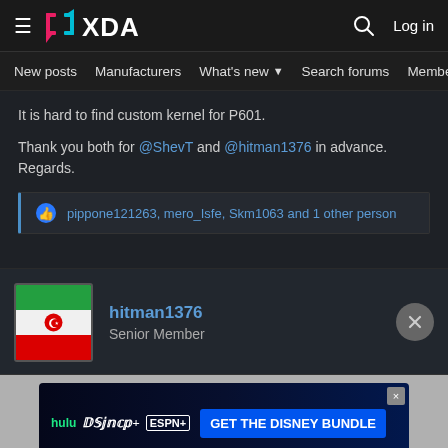XDA Forums — New posts | Manufacturers | What's new | Search forums | Members
It is hard to find custom kernel for P601.

Thank you both for @ShevT and @hitman1376 in advance.
Regards.
pippone121263, mero_Isfe, Skm1063 and 1 other person
hitman1376
Senior Member
[Figure (screenshot): Disney Bundle advertisement banner: Hulu, Disney+, ESPN+ logos with GET THE DISNEY BUNDLE call to action]